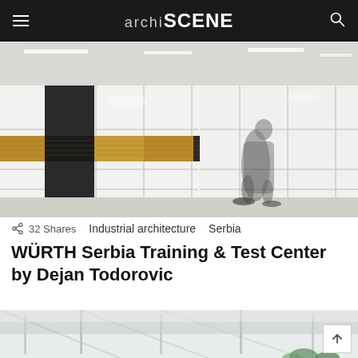archi SCENE
[Figure (photo): Interior of WÜRTH Serbia Training & Test Center: a large industrial space with white grid shelving walls, a horizontal cork/wood panel band, and a blurred person walking across the polished concrete floor. Black door panel on left.]
32 Shares   Industrial architecture   Serbia
WÜRTH Serbia Training & Test Center by Dejan Todorovic
[Figure (photo): Partial view of a bright interior space with white structural elements and green plants visible at the bottom.]